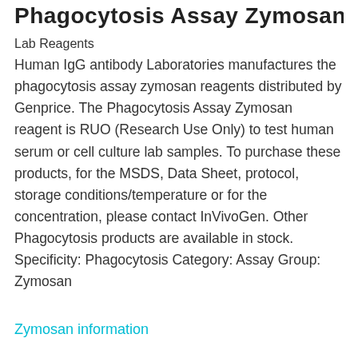Phagocytosis Assay Zymosan
Lab Reagents
Human IgG antibody Laboratories manufactures the phagocytosis assay zymosan reagents distributed by Genprice. The Phagocytosis Assay Zymosan reagent is RUO (Research Use Only) to test human serum or cell culture lab samples. To purchase these products, for the MSDS, Data Sheet, protocol, storage conditions/temperature or for the concentration, please contact InVivoGen. Other Phagocytosis products are available in stock. Specificity: Phagocytosis Category: Assay Group: Zymosan
Zymosan information